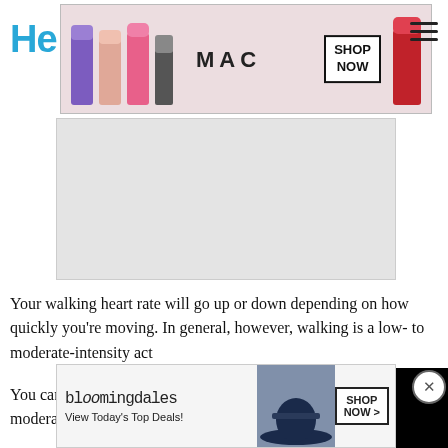He
[Figure (photo): MAC cosmetics advertisement banner with purple, pink, and red lipsticks, MAC logo text, and SHOP NOW button]
[Figure (photo): Gray rectangle placeholder/advertisement area]
Your walking heart rate will go up or down depending on how quickly you're moving. In general, however, walking is a low- to moderate-intensity activity.
You can gauge your intensity during walking according to target heart rate zones for moderate-intensity and high-intensity exercise.
If you're exercising at a moderate intensity, your heart rate will fall between 50 and 70 percent of your maximum heart rate. For all
[Figure (screenshot): Black video player overlay with close X button]
[Figure (photo): Bloomingdale's advertisement banner: View Today's Top Deals! with woman in hat and SHOP NOW button, plus CLOSE button overlay]